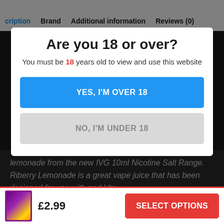cription  Brand  Additional information  Reviews (0)
Are you 18 or over?
You must be 18 years old to view and use this website
YES, I'M OVER 18
NO, I'M UNDER 18
lemonade from the new IVG 10ml Nicotine Salt Range. Riberry Lemonade is a great vape juice that has been designed for use with pod kits.
£2.99  SELECT OPTIONS